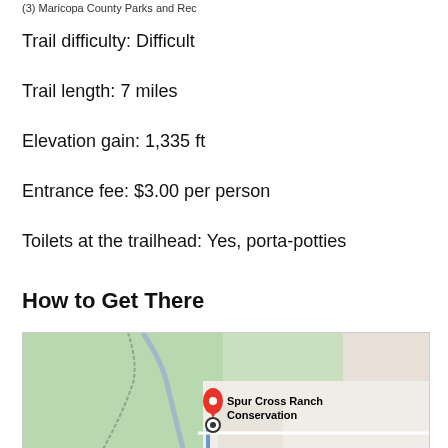(3) Maricopa County Parks and Rec
Trail difficulty: Difficult
Trail length: 7 miles
Elevation gain: 1,335 ft
Entrance fee: $3.00 per person
Toilets at the trailhead: Yes, porta-potties
How to Get There
[Figure (map): Google Maps screenshot showing location of Spur Cross Ranch Conservation area with a red pin marker and a circular location marker.]